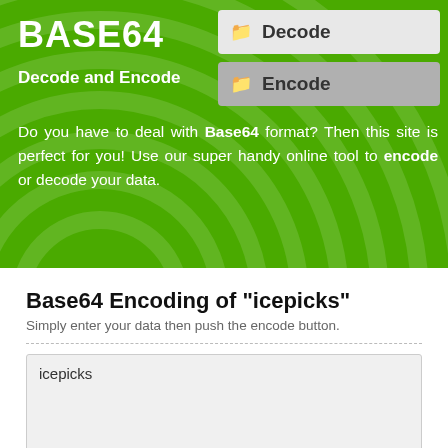BASE64
Decode and Encode
Decode
Encode
Do you have to deal with Base64 format? Then this site is perfect for you! Use our super handy online tool to encode or decode your data.
Base64 Encoding of "icepicks"
Simply enter your data then push the encode button.
icepicks